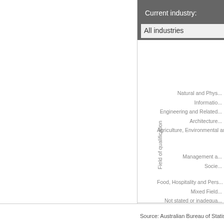Current industry:
All industries
[Figure (other): Partial view of a horizontal bar chart showing Field of qualification on the y-axis. Visible y-axis labels include: Natural and Phys..., Informatio..., Engineering and Related..., Architecture..., Agriculture, Environmental and..., Management a..., Socie..., Food, Hospitality and Pers..., Mixed Field..., Not stated or inadequa..., N...]
Source: Australian Bureau of Statistics